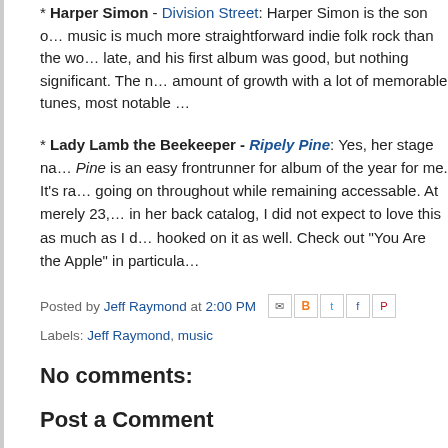* Harper Simon - Division Street: Harper Simon is the son of... music is much more straightforward indie folk rock than the wo... late, and his first album was good, but nothing significant. The ... amount of growth with a lot of memorable tunes, most notable ...
* Lady Lamb the Beekeeper - Ripely Pine: Yes, her stage na... Pine is an easy frontrunner for album of the year for me. It's ra... going on throughout while remaining accessable. At merely 23, ... in her back catalog, I did not expect to love this as much as I d... hooked on it as well. Check out "You Are the Apple" in particula...
Posted by Jeff Raymond at 2:00 PM
Labels: Jeff Raymond, music
No comments:
Post a Comment
To leave a comment, click the button below to sign in with
SIGN IN WITH GOOGLE